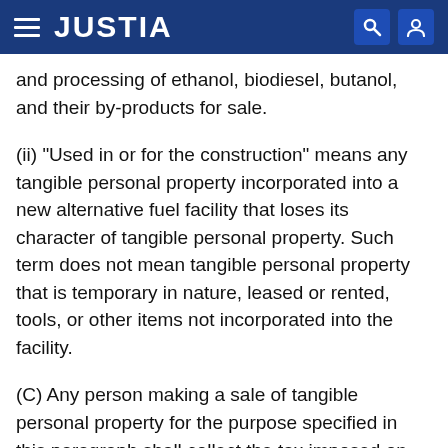JUSTIA
and processing of ethanol, biodiesel, butanol, and their by-products for sale.
(ii) "Used in or for the construction" means any tangible personal property incorporated into a new alternative fuel facility that loses its character of tangible personal property. Such term does not mean tangible personal property that is temporary in nature, leased or rented, tools, or other items not incorporated into the facility.
(C) Any person making a sale of tangible personal property for the purpose specified in this paragraph shall collect the tax imposed on this sale unless the purchaser furnishes an exemption certificate issued by the commissioner certifying that the purchaser is entitled to purchase the tangible personal property without payment of tax.